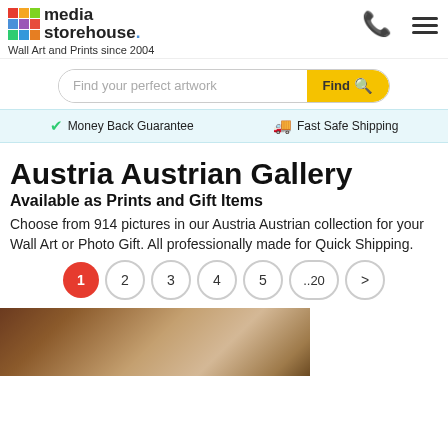media storehouse. Wall Art and Prints since 2004
Find your perfect artwork
Money Back Guarantee   Fast Safe Shipping
Austria Austrian Gallery
Available as Prints and Gift Items
Choose from 914 pictures in our Austria Austrian collection for your Wall Art or Photo Gift. All professionally made for Quick Shipping.
Pagination: 1 2 3 4 5 ..20 >
[Figure (photo): Partial view of a painting or artwork featuring warm brown and tan tones, likely from the Austria Austrian gallery collection.]